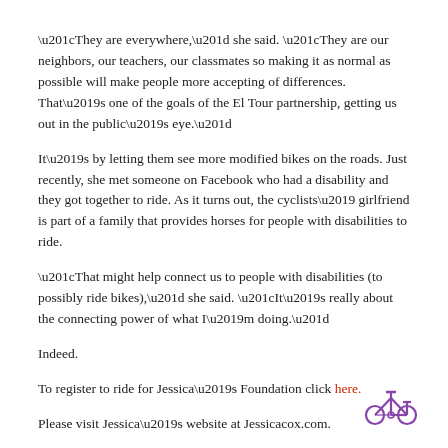“They are everywhere,” she said. “They are our neighbors, our teachers, our classmates so making it as normal as possible will make people more accepting of differences. That’s one of the goals of the El Tour partnership, getting us out in the public’s eye.”
It’s by letting them see more modified bikes on the roads. Just recently, she met someone on Facebook who had a disability and they got together to ride. As it turns out, the cyclists’ girlfriend is part of a family that provides horses for people with disabilities to ride.
“That might help connect us to people with disabilities (to possibly ride bikes),” she said. “It’s really about the connecting power of what I’m doing.”
Indeed.
To register to ride for Jessica’s Foundation click here.
Please visit Jessica’s website at Jessicacox.com.
[Figure (illustration): Purple bicycle icon in the bottom right corner of the page.]